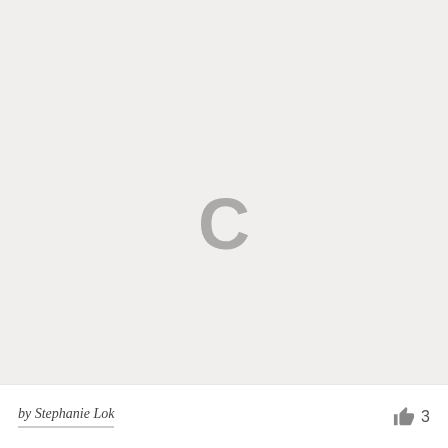[Figure (illustration): Large light gray loading/placeholder image area with a gray 'C' character centered, representing a loading spinner or placeholder state on a document image preview.]
by Stephanie Lok
3